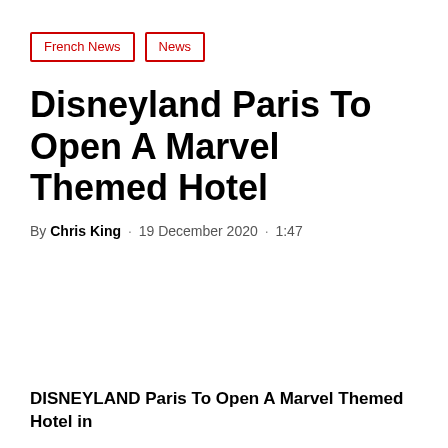French News
News
Disneyland Paris To Open A Marvel Themed Hotel
By Chris King · 19 December 2020 · 1:47
DISNEYLAND Paris To Open A Marvel Themed Hotel in